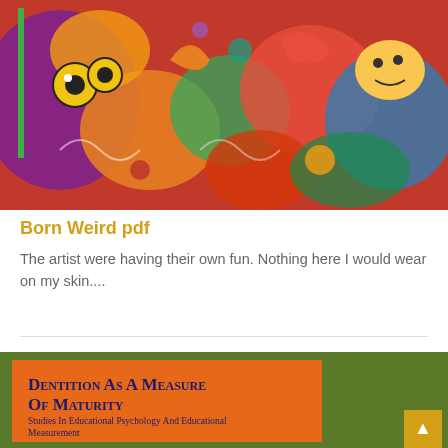[Figure (illustration): Colorful psychedelic art illustration with vivid colors, cartoon-like characters, figures, animals, and abstract shapes. A green vertical bar appears on the left side.]
Born Weird pdf
The artist were having their own fun. Nothing here I would wear on my skin....
[Figure (illustration): Book cover thumbnail with green background and orange rectangle containing title 'Dentition As A Measure Of Maturity' and subtitle 'Studies In Educational Psychology And Educational Measurement']
Dentition As A Measure Of Maturity
Studies In Educational Psychology And Educational Measurement